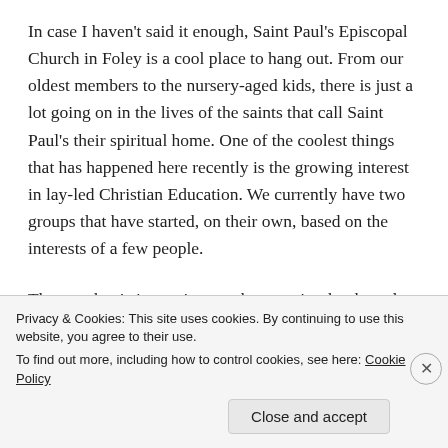In case I haven't said it enough, Saint Paul's Episcopal Church in Foley is a cool place to hang out.  From our oldest members to the nursery-aged kids, there is just a lot going on in the lives of the saints that call Saint Paul's their spiritual home.  One of the coolest things that has happened here recently is the growing interest in lay-led Christian Education.  We currently have two groups that have started, on their own, based on the interests of a few people.
The one that is impacting me the most is a book study
Privacy & Cookies: This site uses cookies. By continuing to use this website, you agree to their use.
To find out more, including how to control cookies, see here: Cookie Policy
Close and accept